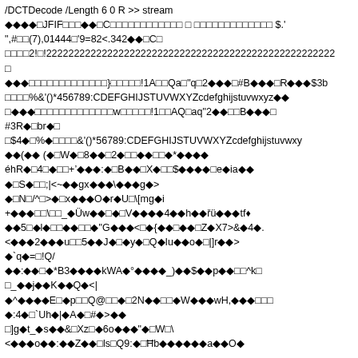/DCTDecode /Length 6 0 R >> stream
���� JFIF   �� C                                $.'
",#  (7),014449=82<.342�� C 
     2! !2222222222222222222222222222222222222222222222222222
 
���             }!     !1A  Qa "q 2��� #B��� R���$3b
    %&'()*456789:CDEFGHIJSTUVWXYZcdefghijstuvwxyz��
 ���             w     !1  AQ aq" 2��  B��� 
#3R� br��
 $4� %�    &'()*56789:CDEFGHIJSTUVWXYZcdefghijstuvwxy
��(��  (� W� 8�� 2�  ��  �*����
éhR� 4 �  +'���:� B�� X�  $���� e�ia��
� S�  ;|<~��gx���\���g�>
� N /^ >� x���O�r�U \[mg�i
+���  \ _�Üw�� � V����4��h��ŗü���tf
��5 �l�  ��  �"G���< �{�� �� Z�X7>&�4�.
<���2���u  5��J� �y� Q�Iu��o� |]r��>
�`q�= !Q/
��:�� �*B3����kWA�°����_)��$��p��  ^k 
 _��j��K��Q�<|
�^����E �p  Q@  � 2N��  �W���wH,���   
�:4� ``Uh�|�A� �#�>��
 ]g�t_�s��& Xz �6o���"� W \
<���o��:��Z�� ls Q9:� Ħb������a��O�